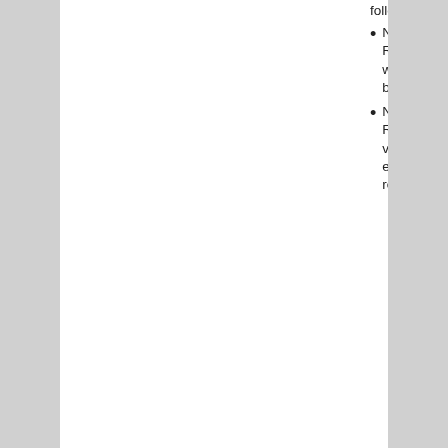following:
No one should sign a Regional check in blank or which contains any item to be filled in later.
No one should sign a Regional check without verifying the expense by examining the invoice or request